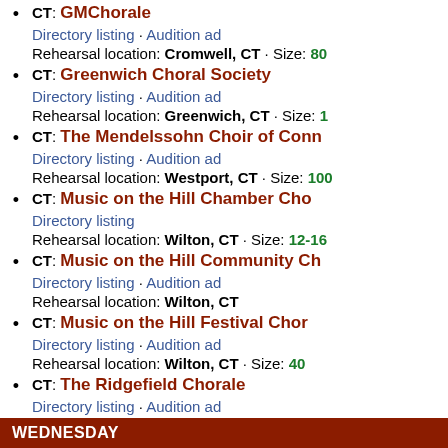CT: GMChorale
Directory listing · Audition ad
Rehearsal location: Cromwell, CT · Size: 80
CT: Greenwich Choral Society
Directory listing · Audition ad
Rehearsal location: Greenwich, CT · Size: 1
CT: The Mendelssohn Choir of Connecticut
Directory listing · Audition ad
Rehearsal location: Westport, CT · Size: 100
CT: Music on the Hill Chamber Chorus
Directory listing
Rehearsal location: Wilton, CT · Size: 12-16
CT: Music on the Hill Community Chorus
Directory listing · Audition ad
Rehearsal location: Wilton, CT
CT: Music on the Hill Festival Chorus
Directory listing · Audition ad
Rehearsal location: Wilton, CT · Size: 40
CT: The Ridgefield Chorale
Directory listing · Audition ad
Rehearsal location: Ridgefield, CT · Size: 80
CT: The Stamford Chorale
Directory listing · Audition ad
Rehearsal location: Stamford, CT · Size: 60
CT: University Singers
Directory listing · Audition ad
Rehearsal location: Bridgeport, CT · Size: 4
Wednesday